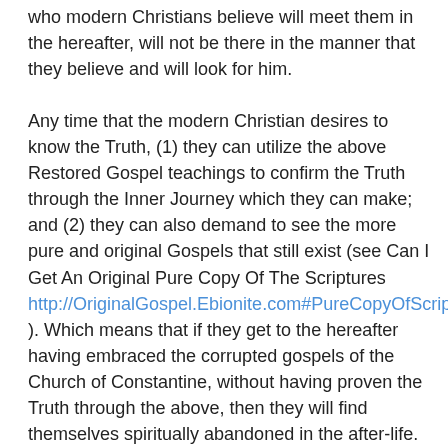who modern Christians believe will meet them in the hereafter, will not be there in the manner that they believe and will look for him.
Any time that the modern Christian desires to know the Truth, (1) they can utilize the above Restored Gospel teachings to confirm the Truth through the Inner Journey which they can make; and (2) they can also demand to see the more pure and original Gospels that still exist (see Can I Get An Original Pure Copy Of The Scriptures http://OriginalGospel.Ebionite.com#PureCopyOfScriptures ). Which means that if they get to the hereafter having embraced the corrupted gospels of the Church of Constantine, without having proven the Truth through the above, then they will find themselves spiritually abandoned in the after-life. The Jesus they seek in accord with the doctrines of Roman Emperors, cannot bring them the Salvation they desire. The Salvation they seek can only be received by seeking the Truth and TheWay in accord with the Original Gospel Teaching, and cannot be acquired by following the religion and teachings of Roman Emperors (see The Religion Of Roman Emperors